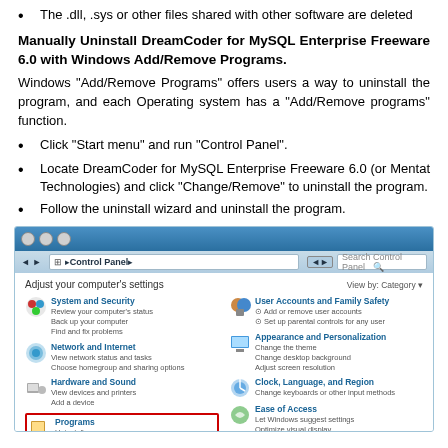The .dll, .sys or other files shared with other software are deleted
Manually Uninstall DreamCoder for MySQL Enterprise Freeware 6.0 with Windows Add/Remove Programs.
Windows "Add/Remove Programs" offers users a way to uninstall the program, and each Operating system has a "Add/Remove programs" function.
Click "Start menu" and run "Control Panel".
Locate DreamCoder for MySQL Enterprise Freeware 6.0 (or Mentat Technologies) and click "Change/Remove" to uninstall the program.
Follow the uninstall wizard and uninstall the program.
[Figure (screenshot): Windows 7 Control Panel screenshot showing Adjust your computer's settings with categories: System and Security, Network and Internet, Hardware and Sound, Programs (highlighted with red border showing Uninstall a program), User Accounts and Family Safety, Appearance and Personalization, Clock Language and Region, Ease of Access]